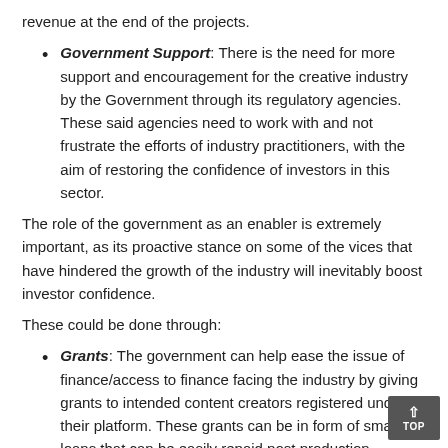revenue at the end of the projects.
Government Support: There is the need for more support and encouragement for the creative industry by the Government through its regulatory agencies. These said agencies need to work with and not frustrate the efforts of industry practitioners, with the aim of restoring the confidence of investors in this sector.
The role of the government as an enabler is extremely important, as its proactive stance on some of the vices that have hindered the growth of the industry will inevitably boost investor confidence.
These could be done through:
Grants: The government can help ease the issue of finance/access to finance facing the industry by giving grants to intended content creators registered under their platform. These grants can be in form of small loans that can be easily repaid post production.